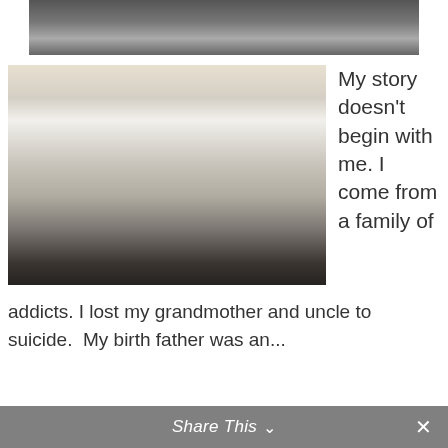[Figure (photo): Partial top of a photo showing what appears to be vehicles or trucks, cropped at top]
[Figure (photo): Woman smiling and standing in front of a white Dolphin RV/motorhome in a parking lot]
My story doesn't begin with me. I come from a family of addicts. I lost my grandmother and uncle to suicide.  My birth father was an...
READ MORE
Share This ∨  ✕